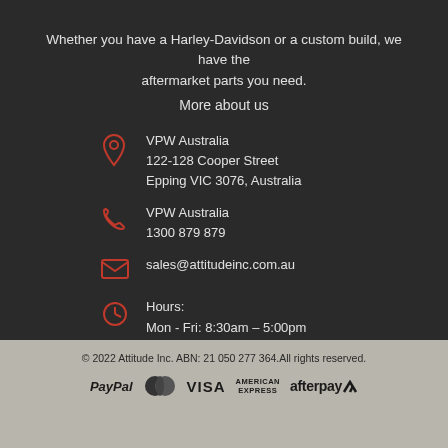Whether you have a Harley-Davidson or a custom build, we have the aftermarket parts you need.
More about us
VPW Australia
122-128 Cooper Street
Epping VIC 3076, Australia
VPW Australia
1300 879 879
sales@attitudeinc.com.au
Hours:
Mon - Fri: 8:30am – 5:00pm
Saturday: 8:30am – 1:00pm
© 2022 Attitude Inc. ABN: 21 050 277 364.All rights reserved.